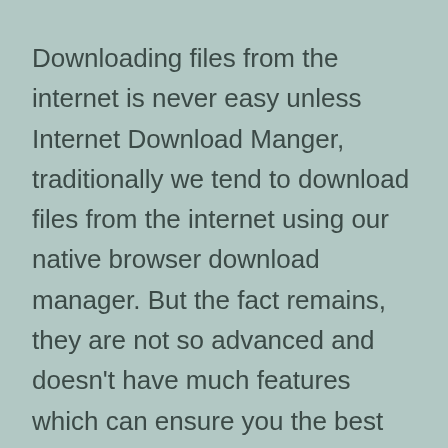Downloading files from the internet is never easy unless Internet Download Manger, traditionally we tend to download files from the internet using our native browser download manager. But the fact remains, they are not so advanced and doesn't have much features which can ensure you the best download experience possible.
Said that the native download managers may also frustrate us while download large files because, the native browser download